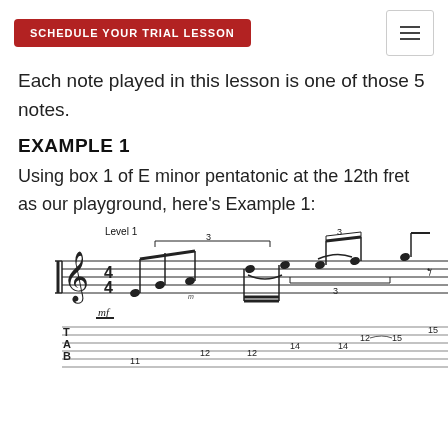SCHEDULE YOUR TRIAL LESSON
Each note played in this lesson is one of those 5 notes.
EXAMPLE 1
Using box 1 of E minor pentatonic at the 12th fret as our playground, here's Example 1:
[Figure (illustration): Sheet music notation showing 'Level 1' guitar tablature in 4/4 time with mf dynamic marking. Musical staff with notes and triplet markings, below which is a TAB staff showing fret numbers including 12, 14, 15, 12, 14, 15, 11, 12, 14.]